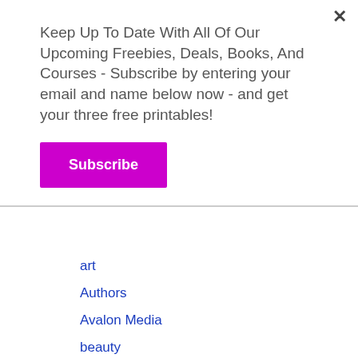Keep Up To Date With All Of Our Upcoming Freebies, Deals, Books, And Courses - Subscribe by entering your email and name below now - and get your three free printables!
Subscribe
art
Authors
Avalon Media
beauty
Best Of Zazzle
blogger awards
blogging
Book Promotion
Book Reviews
books
Celebrate The Small Things